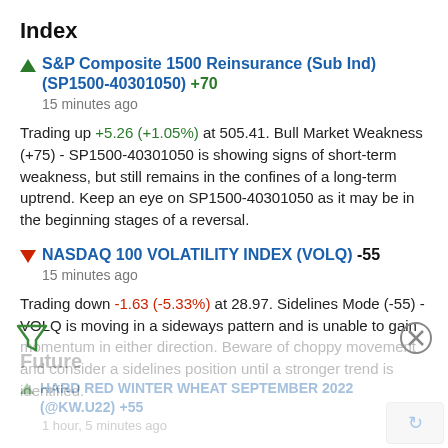Index
S&P Composite 1500 Reinsurance (Sub Ind) (SP1500-40301050) +70
15 minutes ago
Trading up +5.26 (+1.05%) at 505.41. Bull Market Weakness (+75) - SP1500-40301050 is showing signs of short-term weakness, but still remains in the confines of a long-term uptrend. Keep an eye on SP1500-40301050 as it may be in the beginning stages of a reversal.
NASDAQ 100 VOLATILITY INDEX (VOLQ) -55
15 minutes ago
Trading down -1.63 (-5.33%) at 28.97. Sidelines Mode (-55) - VOLQ is moving in a sideways pattern and is unable to gain momentum in either direction. Beware of choppy movement and consider a sidelines position until a stronger trend is identified.
Future
HARD RED WINTER WHEAT SEPTEMBER 2022 (@KW.U22) +55
1 hour, 5 minutes ago